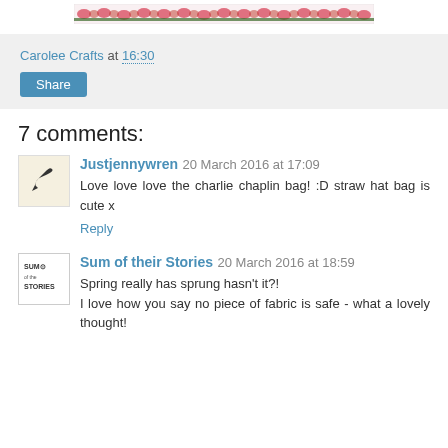[Figure (illustration): Floral/rose border strip image at the top of the page]
Carolee Crafts at 16:30
Share
7 comments:
Justjennywren 20 March 2016 at 17:09
Love love love the charlie chaplin bag! :D straw hat bag is cute x
Reply
Sum of their Stories 20 March 2016 at 18:59
Spring really has sprung hasn't it?!
I love how you say no piece of fabric is safe - what a lovely thought!